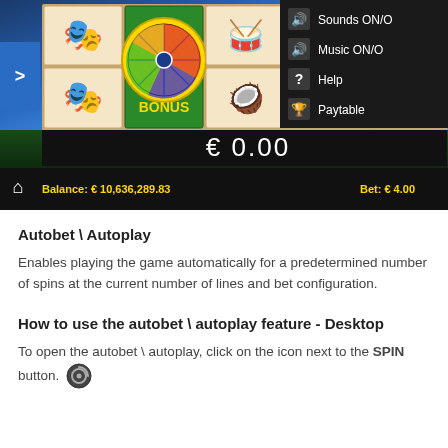[Figure (screenshot): Carnival-themed slot machine game screenshot showing colorful reels with masks, drums, dancers and a bonus wheel. Bottom bar shows Balance: € 10,636,289.83 and Bet: € 4.00. Win display shows € 0.00. A dropdown menu on the right shows Sounds ON/O, Music ON/O, Help, and Paytable options.]
Autobet \ Autoplay
Enables playing the game automatically for a predetermined number of spins at the current number of lines and bet configuration.
How to use the autobet \ autoplay feature - Desktop
To open the autobet \ autoplay, click on the icon next to the SPIN button.